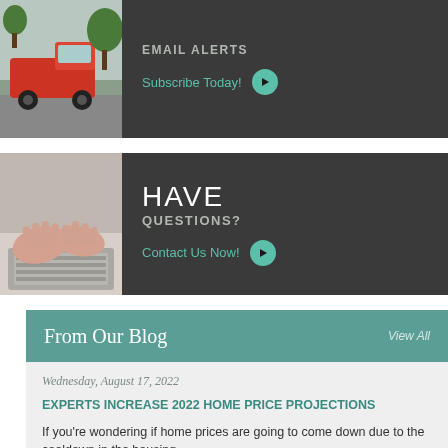[Figure (photo): Red pickup truck on a road, partially visible on the left side of the email alerts banner]
EMAIL ALERTS
Subscribe Today!
[Figure (photo): Hands typing on a laptop keyboard, visible on the left side of the questions banner]
HAVE QUESTIONS?
Contact Us Now!
From Our Blog
View All
Wednesday, August 17, 2022
EXPERTS INCREASE 2022 HOME PRICE PROJECTIONS
If you're wondering if home prices are going to come down due to the cooldown in the housing